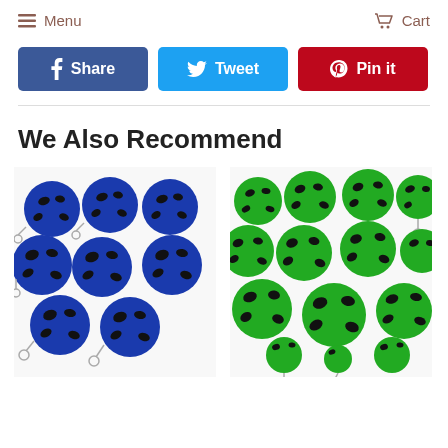Menu   Cart
[Figure (screenshot): Social media share buttons: Facebook Share (blue), Twitter Tweet (light blue), Pinterest Pin it (red)]
We Also Recommend
[Figure (photo): Blue soccer ball keychains - multiple blue foam soccer balls with metal key rings grouped together]
[Figure (photo): Green soccer ball keychains - multiple green foam soccer balls with black spots and metal key rings grouped together]